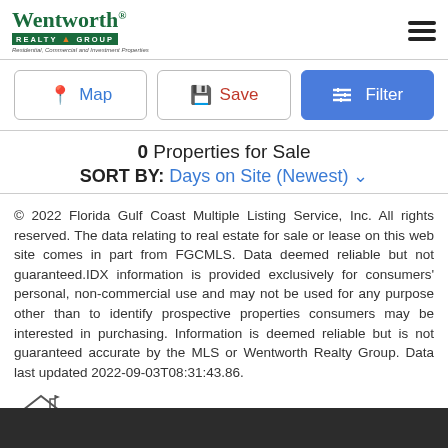[Figure (logo): Wentworth Realty Group logo with green text and tagline]
Map | Save | Filter (navigation buttons)
0 Properties for Sale
SORT BY: Days on Site (Newest)
© 2022 Florida Gulf Coast Multiple Listing Service, Inc. All rights reserved. The data relating to real estate for sale or lease on this web site comes in part from FGCMLS. Data deemed reliable but not guaranteed.IDX information is provided exclusively for consumers' personal, non-commercial use and may not be used for any purpose other than to identify prospective properties consumers may be interested in purchasing. Information is deemed reliable but is not guaranteed accurate by the MLS or Wentworth Realty Group. Data last updated 2022-09-03T08:31:43.86.
[Figure (illustration): House icon]
The data relating to real estate for sale on this limited electronic